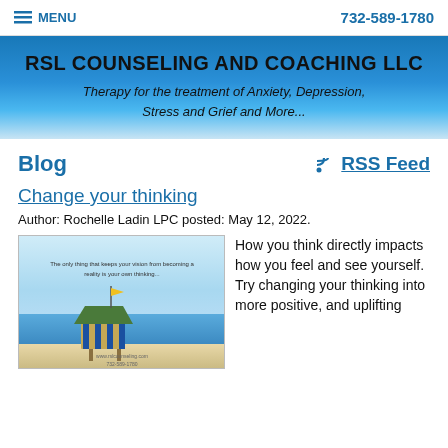MENU | 732-589-1780
RSL COUNSELING AND COACHING LLC
Therapy for the treatment of Anxiety, Depression, Stress and Grief and More...
Blog
RSS Feed
Change your thinking
Author: Rochelle Ladin LPC posted: May 12, 2022.
[Figure (photo): Beach scene with a lifeguard hut and a motivational quote about thinking]
How you think directly impacts how you feel and see yourself.  Try changing your thinking into more positive, and uplifting